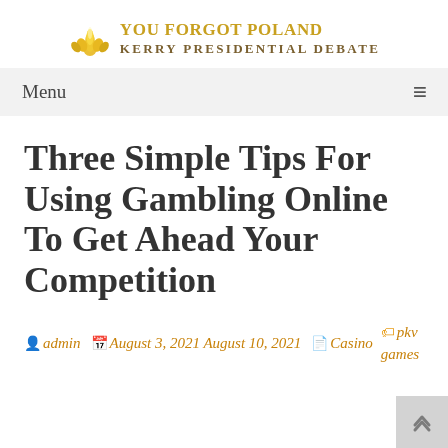YOU FORGOT POLAND KERRY PRESIDENTIAL DEBATE
Menu
Three Simple Tips For Using Gambling Online To Get Ahead Your Competition
admin  August 3, 2021 August 10, 2021  Casino  pkv games